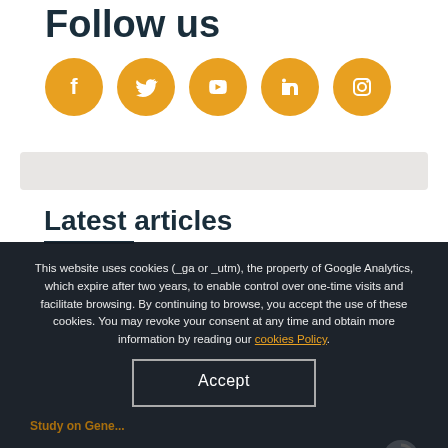Follow us
[Figure (illustration): Row of five orange circular social media icons: Facebook, Twitter, YouTube, LinkedIn, Instagram]
Latest articles
This website uses cookies (_ga or _utm), the property of Google Analytics, which expire after two years, to enable control over one-time visits and facilitate browsing. By continuing to browse, you accept the use of these cookies. You may revoke your consent at any time and obtain more information by reading our cookies Policy.
Accept
Study on Gene...
27/07/2022
World Drug Report 2022